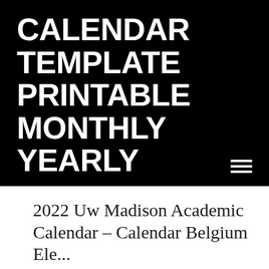CALENDAR TEMPLATE PRINTABLE MONTHLY YEARLY
2022 Uw Madison Academic Calendar – Calendar Belgium Ele...